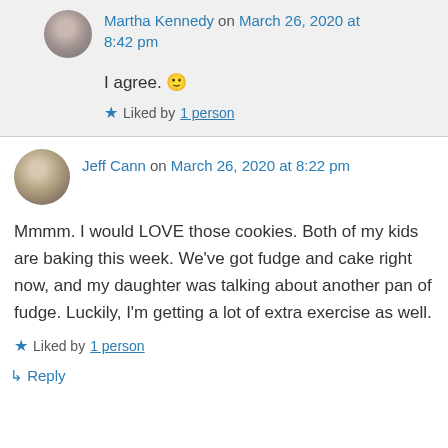Martha Kennedy on March 26, 2020 at 8:42 pm
I agree. 🙂
Liked by 1 person
Jeff Cann on March 26, 2020 at 8:22 pm
Mmmm. I would LOVE those cookies. Both of my kids are baking this week. We've got fudge and cake right now, and my daughter was talking about another pan of fudge. Luckily, I'm getting a lot of extra exercise as well.
Liked by 1 person
↳ Reply